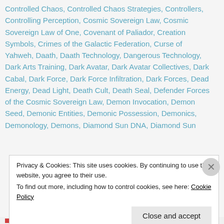Consciousness War, Control Matrix, Control Tactics, Controlled Chaos, Controlled Chaos Strategies, Controllers, Controlling Perception, Cosmic Sovereign Law, Cosmic Sovereign Law of One, Covenant of Paliador, Creation Symbols, Crimes of the Galactic Federation, Curse of Yahweh, Daath, Daath Technology, Dangerous Technology, Dark Arts Training, Dark Avatar, Dark Avatar Collectives, Dark Cabal, Dark Force, Dark Force Infiltration, Dark Forces, Dead Energy, Dead Light, Death Cult, Death Seal, Defender Forces of the Cosmic Sovereign Law, Demon Invocation, Demon Seed, Demonic Entities, Demonic Possession, Demonics, Demonology, Demons, Diamond Sun DNA, Diamond Sun
Privacy & Cookies: This site uses cookies. By continuing to use this website, you agree to their use. To find out more, including how to control cookies, see here: Cookie Policy